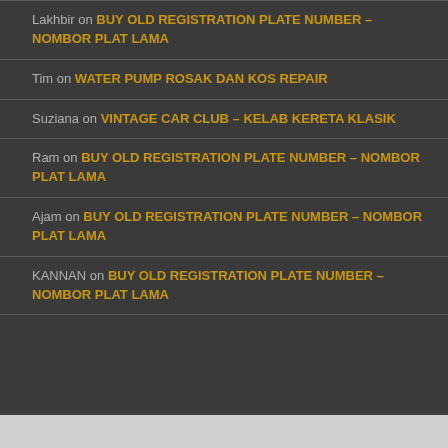Lakhbir on BUY OLD REGISTRATION PLATE NUMBER – NOMBOR PLAT LAMA
Tim on WATER PUMP ROSAK DAN KOS REPAIR
Suziana on VINTAGE CAR CLUB – KELAB KERETA KLASIK
Ram on BUY OLD REGISTRATION PLATE NUMBER – NOMBOR PLAT LAMA
Ajam on BUY OLD REGISTRATION PLATE NUMBER – NOMBOR PLAT LAMA
KANNAN on BUY OLD REGISTRATION PLATE NUMBER – NOMBOR PLAT LAMA